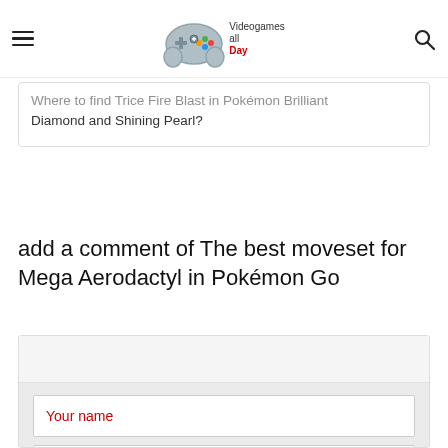Videogames all Day — site header with hamburger menu, logo, and search icon
Where to find Trice Fire Blast in Pokémon Brilliant Diamond and Shining Pearl?
add a comment of The best moveset for Mega Aerodactyl in Pokémon Go
Your name